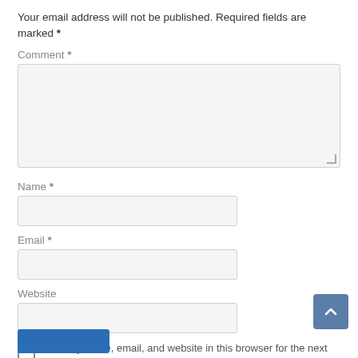Your email address will not be published. Required fields are marked *
Comment *
[Figure (other): Large empty comment textarea input box with resize handle]
Name *
[Figure (other): Small single-line text input box for Name]
Email *
[Figure (other): Small single-line text input box for Email]
Website
[Figure (other): Small single-line text input box for Website]
Save my name, email, and website in this browser for the next time I comment.